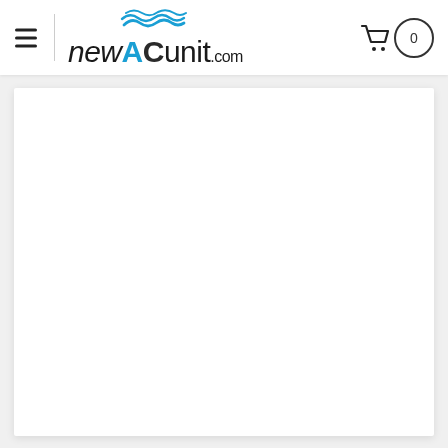newACunit.com website header with hamburger menu, logo, and cart icon showing 0 items
[Figure (screenshot): Website header for newACunit.com showing a hamburger menu icon on the left, a vertical divider, the newACunit.com logo in the center-left with blue wave graphic above AC letters, and a shopping cart icon with a circle badge showing 0 on the right. Below the header is a large white content area.]